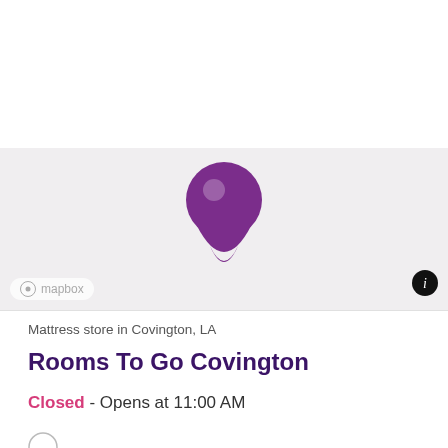[Figure (map): Map view showing a purple location pin marker on a light gray/beige map background. Mapbox attribution logo in lower left. Info button in lower right.]
Mattress store in Covington, LA
Rooms To Go Covington
Closed - Opens at 11:00 AM